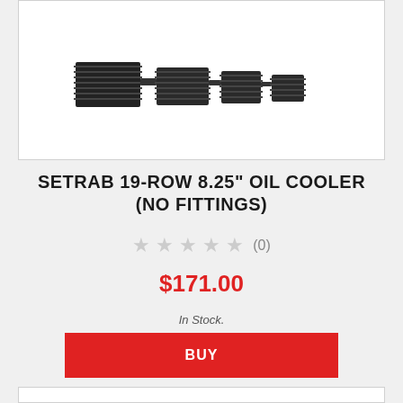[Figure (photo): Product photo of Setrab 19-row 8.25 inch oil cooler, showing multiple stacked black aluminum cooler units arranged in a row on a white background]
SETRAB 19-ROW 8.25" OIL COOLER (NO FITTINGS)
★ ★ ★ ★ ★  (0)
$171.00
In Stock.
BUY
[Figure (photo): Partial view of another product image box at the bottom of the page]